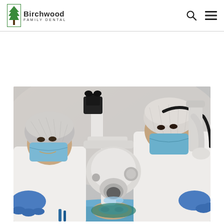[Figure (logo): Birchwood Family Dental logo with tree icon]
[Figure (photo): Two dental professionals wearing hairnets and surgical masks performing a dental procedure on a patient. One dentist is looking through a dental microscope while the other assists. Both wear blue latex gloves. Patient is reclined with blue bib visible.]